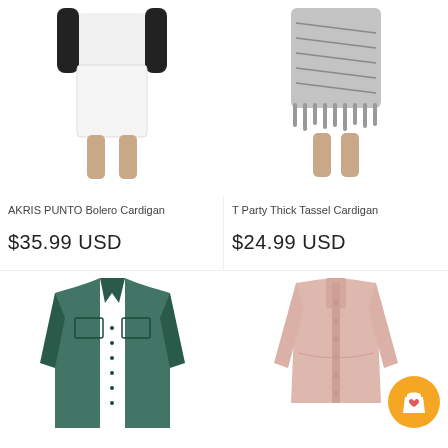[Figure (photo): AKRIS PUNTO Bolero Cardigan - mannequin wearing white pencil skirt with black top]
[Figure (photo): T Party Thick Tassel Cardigan - mannequin wearing grey patterned cardigan with tassels]
AKRIS PUNTO Bolero Cardigan
T Party Thick Tassel Cardigan
$35.99 USD
$24.99 USD
[Figure (photo): Dark teal/green long sleeve button-up shirt displayed flat]
[Figure (photo): Light pink/blush long sleeve button-up blouse on mannequin with shopping bag with heart icon badge overlay]